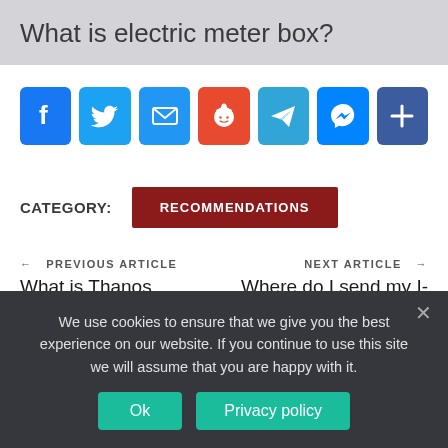What is electric meter box?
[Figure (infographic): Social share buttons: Facebook (blue), Twitter (light blue), Email (blue), Reddit (orange-red), Telegram (teal), Messenger (blue), More/Plus (dark blue)]
CATEGORY: RECOMMENDATIONS
← PREVIOUS ARTICLE
What is Thanos famous line in Endgame?
NEXT ARTICLE →
Where do I send my I-140 form?
We use cookies to ensure that we give you the best experience on our website. If you continue to use this site we will assume that you are happy with it.
Ok
Privacy policy